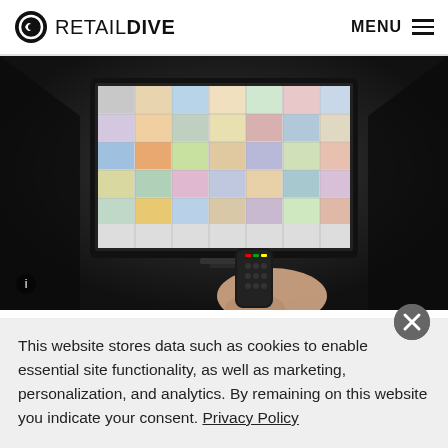RETAIL DIVE | MENU
[Figure (photo): Hand holding a TV remote control pointed at a large flat screen TV displaying a colorful grid of streaming content thumbnails in a dark room.]
Walmart picks Paramount as streaming
This website stores data such as cookies to enable essential site functionality, as well as marketing, personalization, and analytics. By remaining on this website you indicate your consent. Privacy Policy